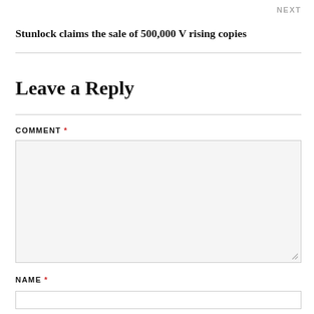NEXT
Stunlock claims the sale of 500,000 V rising copies
Leave a Reply
COMMENT *
NAME *